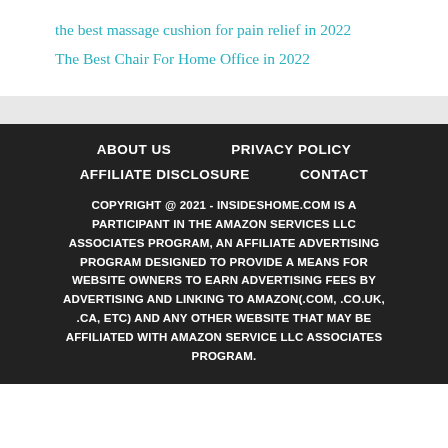the best massage cushion for pain relief in 2022
The Best Chair For Home Office in 2022
ABOUT US   PRIVACY POLICY   AFFILIATE DISCLOSURE   CONTACT   COPYRIGHT @ 2021 - INSIDESHOME.COM IS A PARTICIPANT IN THE AMAZON SERVICES LLC ASSOCIATES PROGRAM, AN AFFILIATE ADVERTISING PROGRAM DESIGNED TO PROVIDE A MEANS FOR WEBSITE OWNERS TO EARN ADVERTISING FEES BY ADVERTISING AND LINKING TO AMAZON(.COM, .CO.UK, .CA, ETC) AND ANY OTHER WEBSITE THAT MAY BE AFFILIATED WITH AMAZON SERVICE LLC ASSOCIATES PROGRAM.